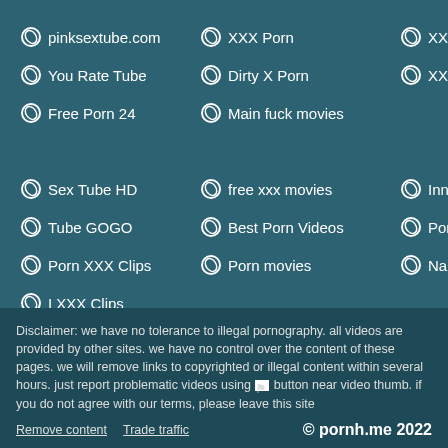pinksextube.com
XXX Porn
XXX SWAT
You Rate Tube
Dirty X Porn
XXX Tube
Free Porn 24
Main fuck movies
Sex Tube HD
free xxx movies
Inn Porn
Tube GOGO
Best Porn Videos
Porn Clips
Porn XXX Clips
Porn movies
Nah Tube
I XXX Clips
Disclaimer: we have no tolerance to illegal pornography. all videos are provided by other sites. we have no control over the content of these pages. we will remove links to copyrighted or illegal content within several hours. just report problematic videos using [flag] button near video thumb. if you do not agree with our terms, please leave this site
Remove content   Trade traffic   © pornh.me 2022